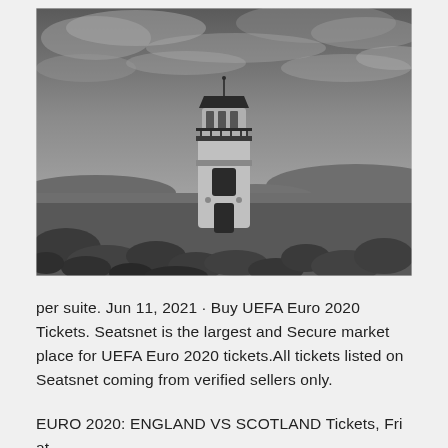[Figure (photo): Black and white photograph of a lighthouse tower made of stone/brick, with rocks in the foreground and a dramatic cloudy sky in the background. Rolling hills visible in the distance.]
per suite. Jun 11, 2021 · Buy UEFA Euro 2020 Tickets. Seatsnet is the largest and Secure market place for UEFA Euro 2020 tickets.All tickets listed on Seatsnet coming from verified sellers only.
EURO 2020: ENGLAND VS SCOTLAND Tickets, Fri at